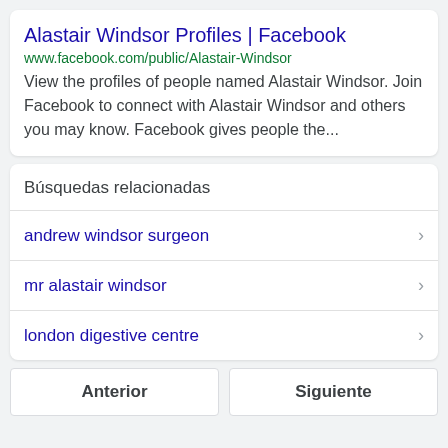Alastair Windsor Profiles | Facebook
www.facebook.com/public/Alastair-Windsor
View the profiles of people named Alastair Windsor. Join Facebook to connect with Alastair Windsor and others you may know. Facebook gives people the...
Búsquedas relacionadas
andrew windsor surgeon
mr alastair windsor
london digestive centre
Anterior
Siguiente